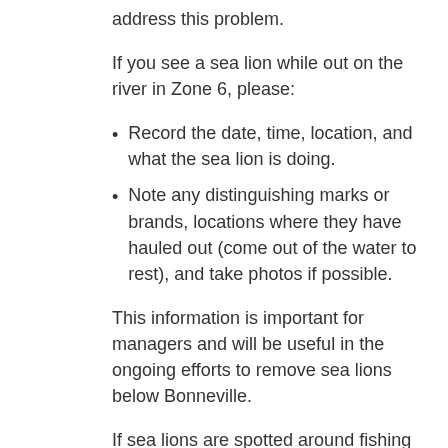address this problem.
If you see a sea lion while out on the river in Zone 6, please:
Record the date, time, location, and what the sea lion is doing.
Note any distinguishing marks or brands, locations where they have hauled out (come out of the water to rest), and take photos if possible.
This information is important for managers and will be useful in the ongoing efforts to remove sea lions below Bonneville.
If sea lions are spotted around fishing gear or